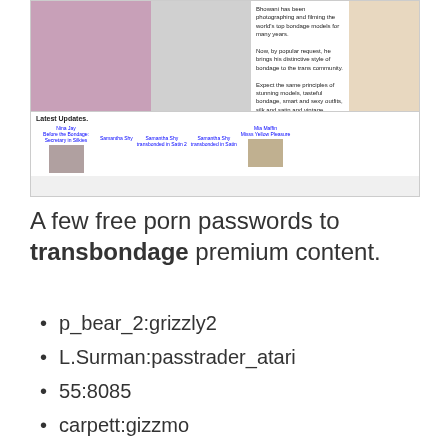[Figure (screenshot): Screenshot of a transbondage website showing bondage model photos, descriptive text about the site, and a Latest Updates section with thumbnails.]
A few free porn passwords to transbondage premium content.
p_bear_2:grizzly2
L.Surman:passtrader_atari
55:8085
carpett:gizzmo
glennr:afaras95